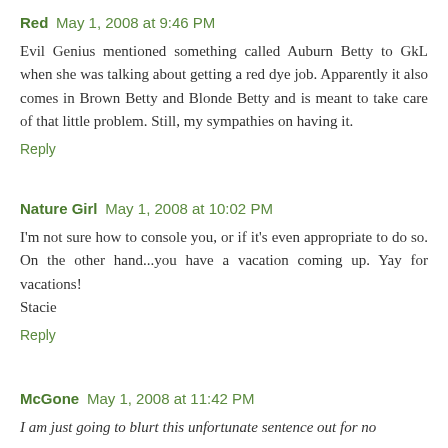Red May 1, 2008 at 9:46 PM
Evil Genius mentioned something called Auburn Betty to GkL when she was talking about getting a red dye job. Apparently it also comes in Brown Betty and Blonde Betty and is meant to take care of that little problem. Still, my sympathies on having it.
Reply
Nature Girl May 1, 2008 at 10:02 PM
I'm not sure how to console you, or if it's even appropriate to do so. On the other hand...you have a vacation coming up. Yay for vacations!
Stacie
Reply
McGone May 1, 2008 at 11:42 PM
I am just going to blurt this unfortunate sentence out for no